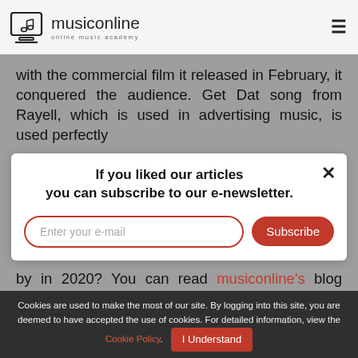[Figure (logo): Musiconline logo: monitor icon with musical note, text 'musiconline' and subtitle 'online music academy']
with the commercial film it released in February, it conquered the audience. Get Dat song from Rayell, which is used in advertising music, is used perfectly
If you liked our articles you can subscribe to our e-newsletter.
by in 2020? You can read musiconline's blog posts here. You can subscribe to our weekly newsletter to be notified of new posts instantly.
Cookies are used to make the most of our site. By logging into this site, you are deemed to have accepted the use of cookies. For detailed information, view the Cookie Policy.